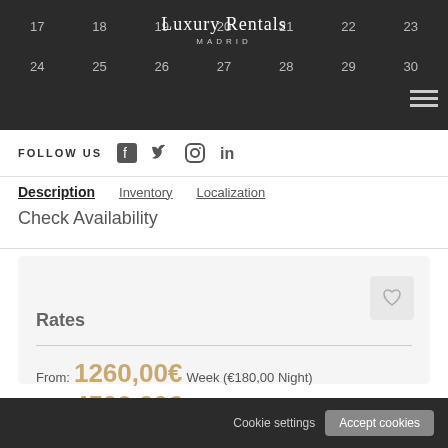Luxury Rentals Madrid
FOLLOW US
Description  Inventory  Localization
Check Availability
Rates
From: 1260,00€ Week (€180,00 Night)
From: 4500,00€ Month (€150,00 Night)
Arrival
Cookie settings  Accept cookies